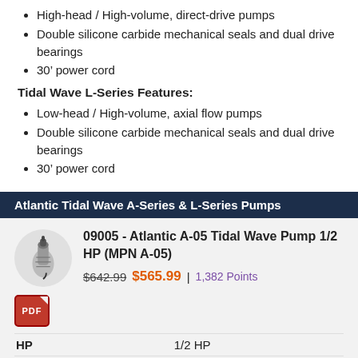High-head / High-volume, direct-drive pumps
Double silicone carbide mechanical seals and dual drive bearings
30' power cord
Tidal Wave L-Series Features:
Low-head / High-volume, axial flow pumps
Double silicone carbide mechanical seals and dual drive bearings
30' power cord
Atlantic Tidal Wave A-Series & L-Series Pumps
09005 - Atlantic A-05 Tidal Wave Pump 1/2 HP (MPN A-05)
$642.99 $565.99 | 1,382 Points
[Figure (logo): PDF icon]
| HP | 1/2 HP |
| --- | --- |
| GPH @ 10' | 2840 |